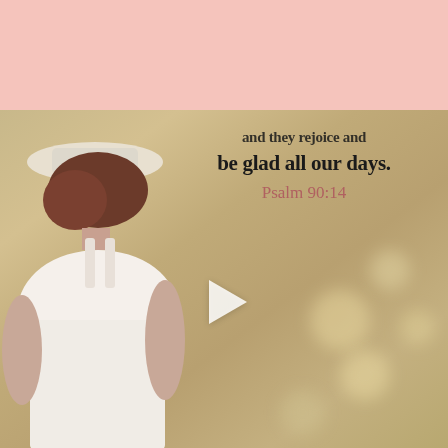[Figure (photo): Pink/salmon solid color header bar at top of page]
[Figure (photo): Outdoor blurred background photo with a young woman seen from behind wearing a white hat and white top, standing in a warm golden field. Bible verse overlay text reads partial first line then 'be glad all our days.' and 'Psalm 90:14'. A white play button triangle is centered in the lower half of the image.]
and they rejoice and be glad all our days.
Psalm 90:14